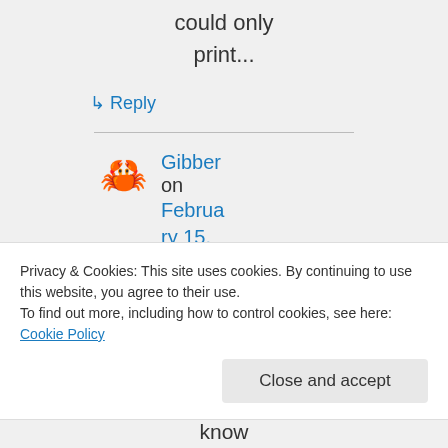could only print...
↳ Reply
Gibber on February 15, 2018 at 1:44
Privacy & Cookies: This site uses cookies. By continuing to use this website, you agree to their use.
To find out more, including how to control cookies, see here: Cookie Policy
Close and accept
know